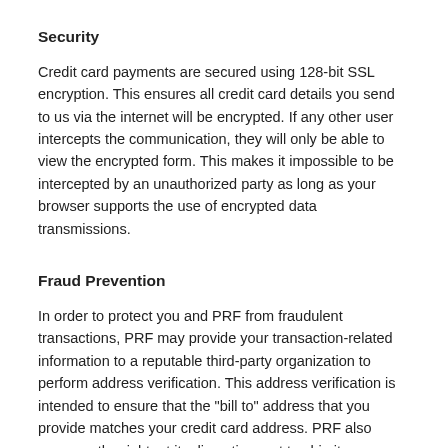Security
Credit card payments are secured using 128-bit SSL encryption. This ensures all credit card details you send to us via the internet will be encrypted. If any other user intercepts the communication, they will only be able to view the encrypted form. This makes it impossible to be intercepted by an unauthorized party as long as your browser supports the use of encrypted data transmissions.
Fraud Prevention
In order to protect you and PRF from fraudulent transactions, PRF may provide your transaction-related information to a reputable third-party organization to perform address verification. This address verification is intended to ensure that the "bill to" address that you provide matches your credit card address. PRF also reserves the right, at its discretion, not to ship items ordered or purchased on this